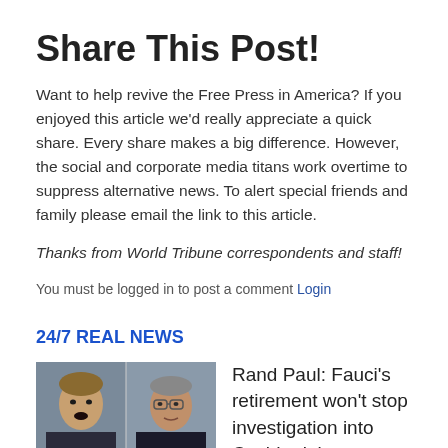Share This Post!
Want to help revive the Free Press in America? If you enjoyed this article we'd really appreciate a quick share. Every share makes a big difference. However, the social and corporate media titans work overtime to suppress alternative news. To alert special friends and family please email the link to this article.
Thanks from World Tribune correspondents and staff!
You must be logged in to post a comment Login
24/7 REAL NEWS
[Figure (photo): Two men side by side — Rand Paul on the left and Anthony Fauci on the right, both seated at what appears to be a hearing]
Rand Paul: Fauci's retirement won't stop investigation into Covid origin